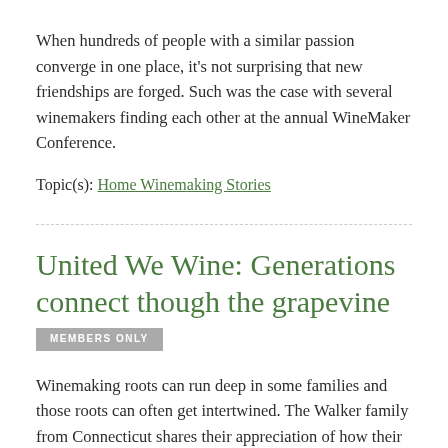When hundreds of people with a similar passion converge in one place, it's not surprising that new friendships are forged. Such was the case with several winemakers finding each other at the annual WineMaker Conference.
Topic(s): Home Winemaking Stories
United We Wine: Generations connect though the grapevine [MEMBERS ONLY]
Winemaking roots can run deep in some families and those roots can often get intertwined. The Walker family from Connecticut shares their appreciation of how their roots have